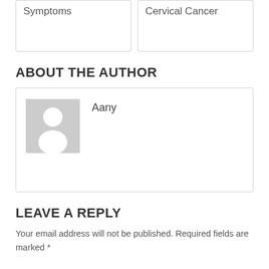Symptoms
Cervical Cancer
ABOUT THE AUTHOR
[Figure (illustration): Generic user avatar placeholder: grey background with white silhouette of a person (head circle and body shape)]
Aany
LEAVE A REPLY
Your email address will not be published. Required fields are marked *